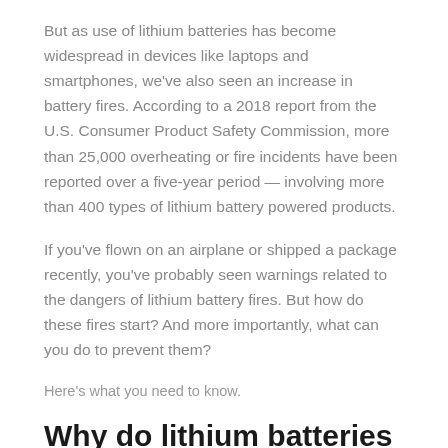But as use of lithium batteries has become widespread in devices like laptops and smartphones, we've also seen an increase in battery fires. According to a 2018 report from the U.S. Consumer Product Safety Commission, more than 25,000 overheating or fire incidents have been reported over a five-year period — involving more than 400 types of lithium battery powered products.
If you've flown on an airplane or shipped a package recently, you've probably seen warnings related to the dangers of lithium battery fires. But how do these fires start? And more importantly, what can you do to prevent them?
Here's what you need to know.
Why do lithium batteries catch